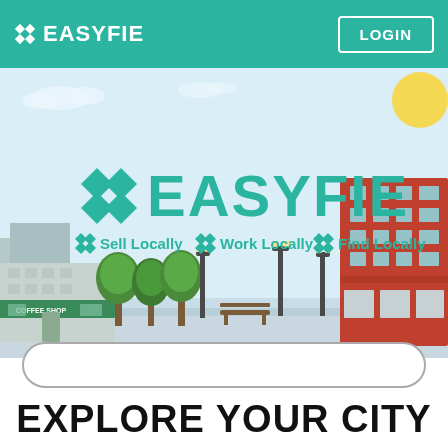❖ EASYFIE   LOGIN
[Figure (illustration): City scene illustration with illustrated buildings (green coffee shop on left, red multi-story building on right), trees, park bench, street lamps, light blue sky, sun in upper right. Overlaid with EASYFIE logo (grid icon + EASYFIE text in teal) and tagline '❖ Sell Locally ❖ Work Locally ❖ Find Locally' in teal.]
EXPLORE YOUR CITY